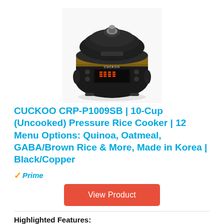[Figure (photo): Cuckoo CRP-P1009SB electric pressure rice cooker, black and copper colored, with digital LED display showing 12:00, top-down rounded shape with pressure valve on top.]
CUCKOO CRP-P1009SB | 10-Cup (Uncooked) Pressure Rice Cooker | 12 Menu Options: Quinoa, Oatmeal, GABA/Brown Rice & More, Made in Korea | Black/Copper
Prime
View Product
Highlighted Features:
KOREAN MADE ELECTRIC PRESSURE RICE